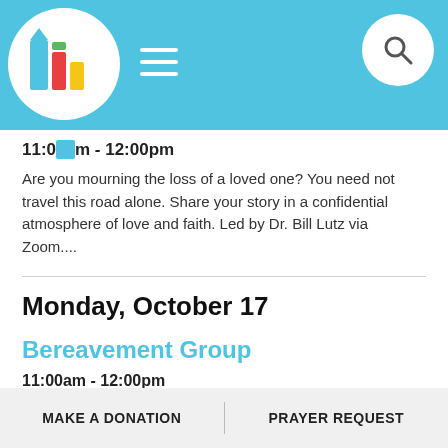[Figure (logo): Colorful geometric church logo inside a white circle on a blue header bar with hamburger menu and search icon]
11:00am - 12:00pm
Are you mourning the loss of a loved one? You need not travel this road alone. Share your story in a confidential atmosphere of love and faith. Led by Dr. Bill Lutz via Zoom....
Monday, October 17
Bereavement Group
11:00am - 12:00pm
Are you mourning the loss of a loved one? You need not travel this road alone. Share your story in a confidential
MAKE A DONATION   PRAYER REQUEST